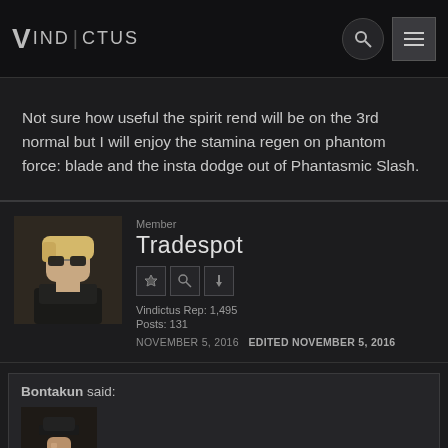VINDICTUS
Not sure how useful the spirit rend will be on the 3rd normal but I will enjoy the stamina regen on phantom force: blade and the insta dodge out of Phantasmic Slash.
Member
Tradespot
Vindictus Rep: 1,495
Posts: 131
NOVEMBER 5, 2016  EDITED NOVEMBER 5, 2016
Bontakun said: